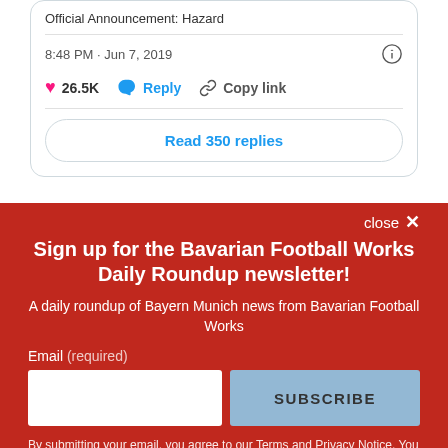Official Announcement: Hazard
8:48 PM · Jun 7, 2019
26.5K   Reply   Copy link
Read 350 replies
close ✕
Sign up for the Bavarian Football Works Daily Roundup newsletter!
A daily roundup of Bayern Munich news from Bavarian Football Works
Email (required)
SUBSCRIBE
By submitting your email, you agree to our Terms and Privacy Notice. You can opt out at any time. This site is protected by reCAPTCHA and the Google Privacy Policy and Terms of Service apply.